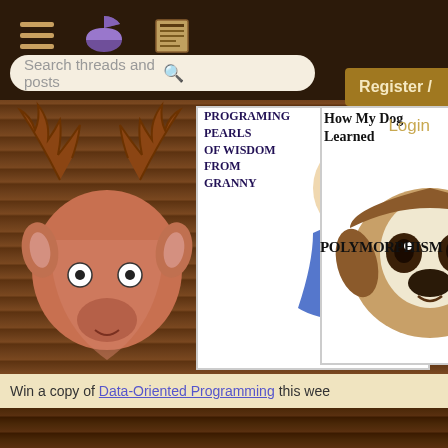Search threads and posts
Register /
Login
[Figure (illustration): Moose mascot head illustration on wood background]
[Figure (illustration): Book cover: Programing Pearls of Wisdom from Granny — illustration of elderly woman with glasses]
[Figure (illustration): Book cover: How My Dog Learned Polymorphism — photo of a dog]
Win a copy of Data-Oriented Programming this wee
programming forums
Java
Mobile
OTHER THREADS SIMILA
SCV
HEad First For EJB3.0